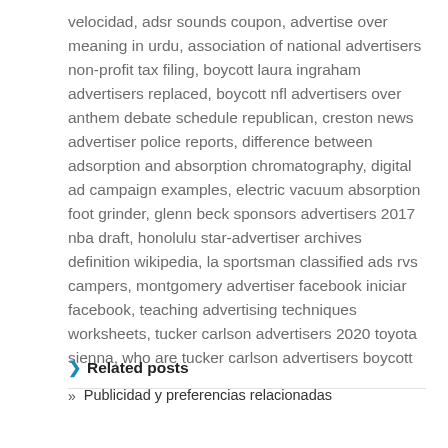velocidad, adsr sounds coupon, advertise over meaning in urdu, association of national advertisers non-profit tax filing, boycott laura ingraham advertisers replaced, boycott nfl advertisers over anthem debate schedule republican, creston news advertiser police reports, difference between adsorption and absorption chromatography, digital ad campaign examples, electric vacuum absorption foot grinder, glenn beck sponsors advertisers 2017 nba draft, honolulu star-advertiser archives definition wikipedia, la sportsman classified ads rvs campers, montgomery advertiser facebook iniciar facebook, teaching advertising techniques worksheets, tucker carlson advertisers 2020 toyota sienna, who are tucker carlson advertisers boycott
Related posts
Publicidad y preferencias relacionadas